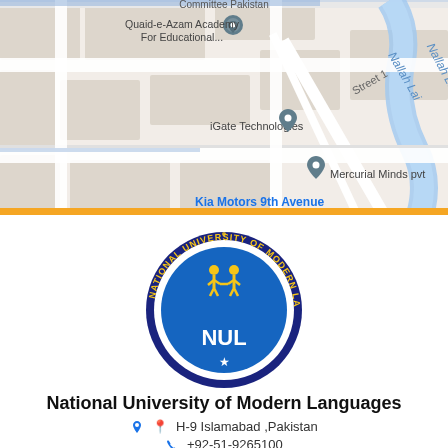[Figure (map): Google Maps screenshot showing area around National University of Modern Languages in Islamabad, Pakistan. Labels visible include: Committee Pakistan (top, cut off), Quaid-e-Azam Academy For Educational..., iGate Technologies, Mercurial Minds pvt, Kia Motors 9th Avenue, Daraz Islamabad Warehouse (partial), Nallah Lai, Street 1, and bus stop icons. Map has light gray roads on white background with blue road markings.]
[Figure (logo): Circular logo of National University of Modern Languages (NUML). Dark navy blue outer ring with yellow text reading 'NATIONAL UNIVERSITY OF MODERN LANGUAGES'. Blue inner circle with yellow figure icons (two people) at top and white 'NUL' text in center bottom, with a white star at bottom of ring.]
National University of Modern Languages
H-9 Islamabad ,Pakistan
+92-51-9265100
info@numl.edu.pk